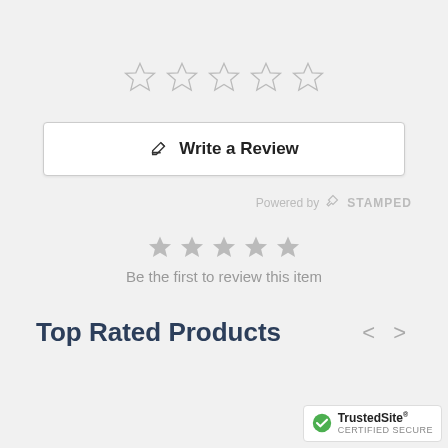[Figure (other): Five empty star rating icons (large, outline style)]
[Figure (other): Write a Review button with edit pencil icon]
Powered by STAMPED
[Figure (other): Five filled grey star rating icons (small)]
Be the first to review this item
Top Rated Products
[Figure (other): TrustedSite Certified Secure badge]